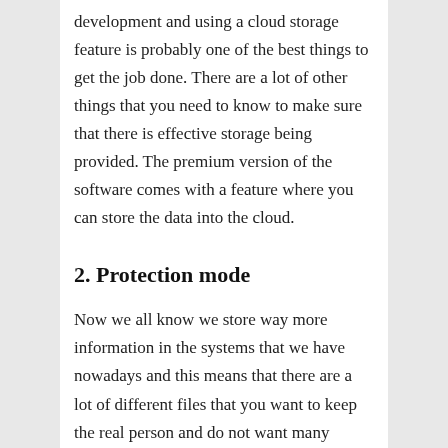development and using a cloud storage feature is probably one of the best things to get the job done. There are a lot of other things that you need to know to make sure that there is effective storage being provided. The premium version of the software comes with a feature where you can store the data into the cloud.
2. Protection mode
Now we all know we store way more information in the systems that we have nowadays and this means that there are a lot of different files that you want to keep the real person and do not want many peaking into the